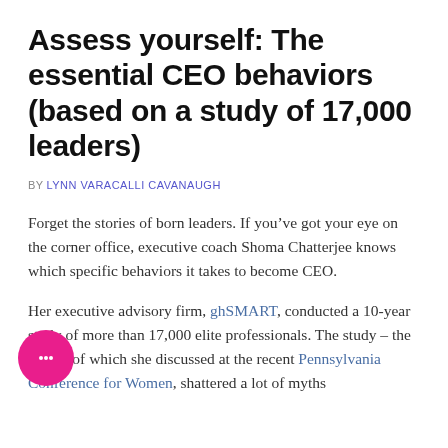Assess yourself: The essential CEO behaviors (based on a study of 17,000 leaders)
BY LYNN VARACALLI CAVANAUGH
Forget the stories of born leaders. If you’ve got your eye on the corner office, executive coach Shoma Chatterjee knows which specific behaviors it takes to become CEO.
Her executive advisory firm, ghSMART, conducted a 10-year study of more than 17,000 elite professionals. The study – the results of which she discussed at the recent Pennsylvania Conference for Women, shattered a lot of myths